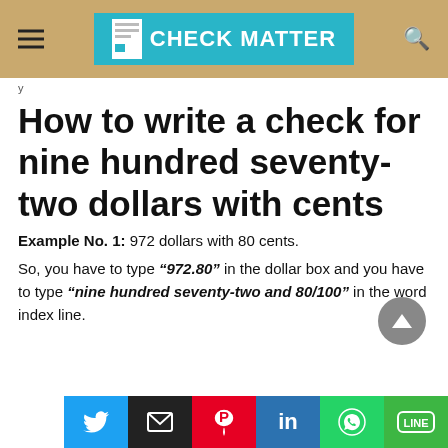CHECK MATTER
How to write a check for nine hundred seventy-two dollars with cents
Example No. 1: 972 dollars with 80 cents.
So, you have to type "972.80" in the dollar box and you have to type "nine hundred seventy-two and 80/100" in the word index line.
Share buttons: Twitter, Email, Pinterest, LinkedIn, WhatsApp, LINE